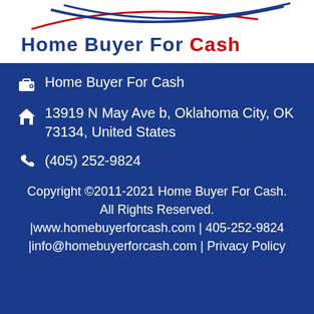[Figure (logo): Home Buyer For Cash company logo with blue and red swoosh curves on white background]
Home Buyer For Cash
13919 N May Ave b, Oklahoma City, OK 73134, United States
(405) 252-9824
Copyright ©2011-2021 Home Buyer For Cash. All Rights Reserved. |www.homebuyerforcash.com | 405-252-9824 |info@homebuyerforcash.com | Privacy Policy